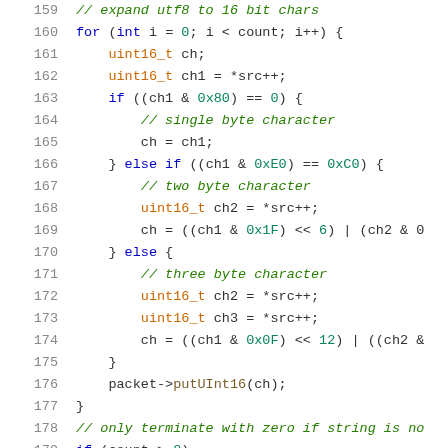Source code listing lines 159-180, C++ UTF-8 to UTF-16 expansion function